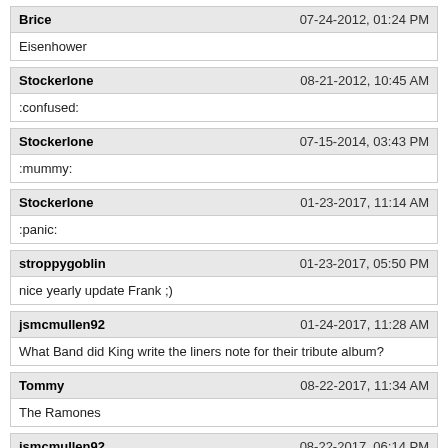Brice | 07-24-2012, 01:24 PM | Eisenhower
Stockerlone | 08-21-2012, 10:45 AM | :confused:
Stockerlone | 07-15-2014, 03:43 PM | :mummy:
Stockerlone | 01-23-2017, 11:14 AM | :panic:
stroppygoblin | 01-23-2017, 05:50 PM | nice yearly update Frank ;)
jsmcmullen92 | 01-24-2017, 11:28 AM | What Band did King write the liners note for their tribute album?
Tommy | 08-22-2017, 11:34 AM | The Ramones
jsmcmullen92 | 08-22-2017, 06:14 PM | The RamonesYup! You're up